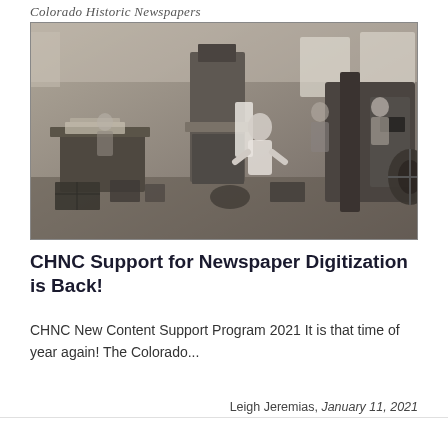Colorado Historic Newspapers
[Figure (photo): Black and white photograph of a historic newspaper printing press room with workers and printing equipment]
CHNC Support for Newspaper Digitization is Back!
CHNC New Content Support Program 2021 It is that time of year again!  The Colorado...
Leigh Jeremias, January 11, 2021